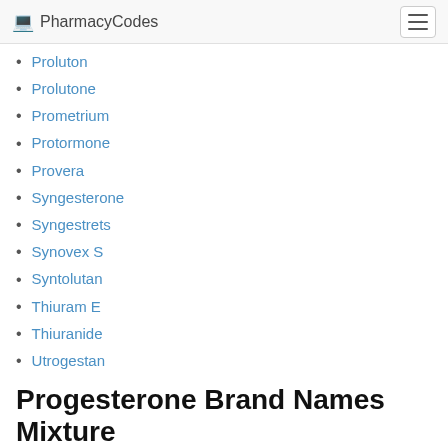PharmacyCodes
Proluton
Prolutone
Prometrium
Protormone
Provera
Syngesterone
Syngestrets
Synovex S
Syntolutan
Thiuram E
Thiuranide
Utrogestan
Progesterone Brand Names Mixture
Calf-Oid Implant (Estradiol Benzoate + Progesterone)
Component E-C Implants (Estradiol Benzoate + Progesterone)
Component E-S Implants (Estradiol Benzoate + Progesterone)